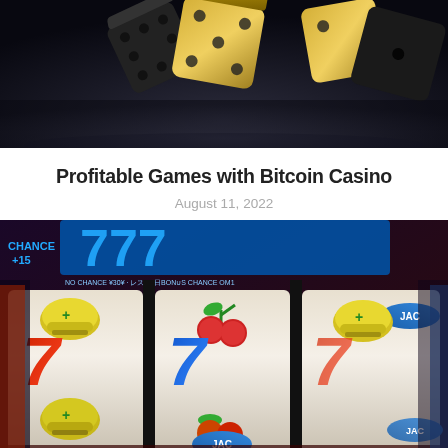[Figure (photo): Close-up photo of gold and black dice on a dark background, partially cropped at top]
Profitable Games with Bitcoin Casino
August 11, 2022
[Figure (photo): Slot machine reels showing symbols including cherries, lucky helmets, number 7s, and JAC buttons, with CHANCE +15 text visible and a green digital display showing 00]